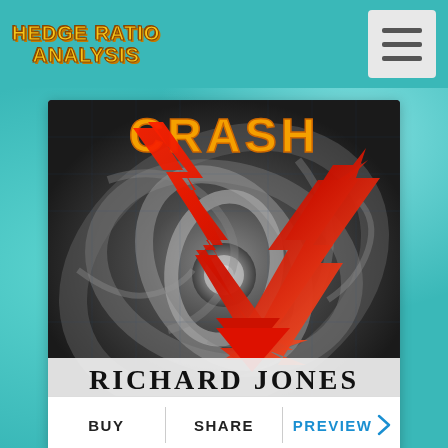HEDGE RATIO ANALYSIS
[Figure (illustration): Book cover for 'CRASH' by Richard Jones featuring a red downward-trending stock chart arrow overlaid on a black-and-white hurricane aerial photograph, with the text CRASH at the top in orange/yellow and RICHARD JONES at the bottom in bold black serif font.]
BUY | SHARE | PREVIEW